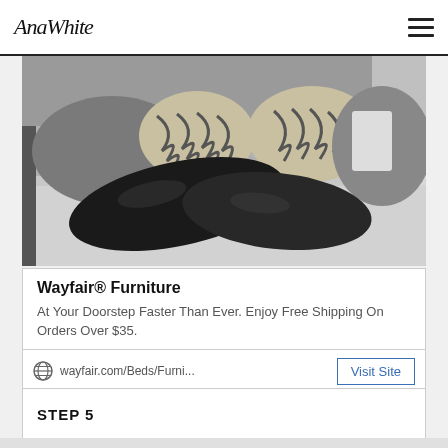AnaWhite
[Figure (photo): A bed with multiple decorative pillows in dark charcoal, black leather, and zebra-print patterns on grey bedding]
Wayfair® Furniture
At Your Doorstep Faster Than Ever. Enjoy Free Shipping On Orders Over $35.
wayfair.com/Beds/Furni...
STEP 5